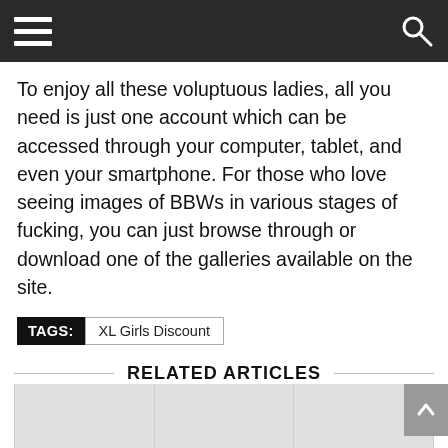Navigation bar with hamburger menu and search icon
To enjoy all these voluptuous ladies, all you need is just one account which can be accessed through your computer, tablet, and even your smartphone. For those who love seeing images of BBWs in various stages of fucking, you can just browse through or download one of the galleries available on the site.
TAGS: XL Girls Discount
RELATED ARTICLES
$7.50 – Filth Freaks Discount (Save 75%)
$7.50 – Cucked.XXX Discount (Save 75%)
$5.00 – Black Step Dad Discount (Save